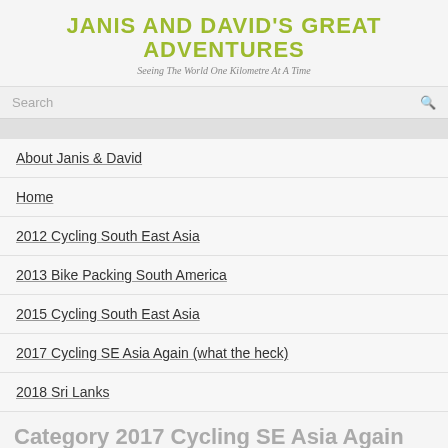JANIS AND DAVID'S GREAT ADVENTURES
Seeing The World One Kilometre At A Time
Search
About Janis & David
Home
2012 Cycling South East Asia
2013 Bike Packing South America
2015 Cycling South East Asia
2017 Cycling SE Asia Again (what the heck)
2018 Sri Lanks
Category 2017 Cycling SE Asia Again (what the heck)